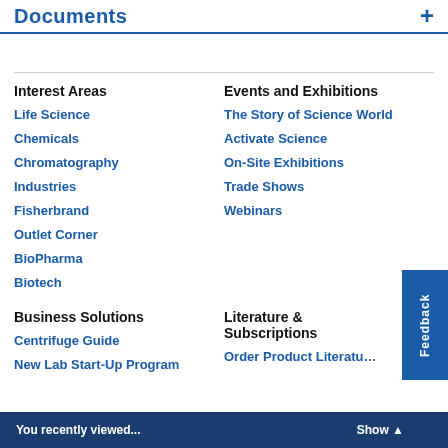Documents +
Interest Areas
Life Science
Chemicals
Chromatography
Industries
Fisherbrand
Outlet Corner
BioPharma
Biotech
Events and Exhibitions
The Story of Science World
Activate Science
On-Site Exhibitions
Trade Shows
Webinars
Business Solutions
Centrifuge Guide
New Lab Start-Up Program
Literature & Subscriptions
Order Product Literature
You recently viewed...
Show